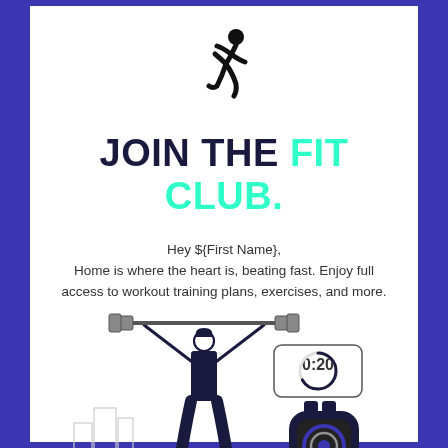[Figure (illustration): Running person stick figure icon in black]
JOIN THE FIT CLUB.
Hey ${First Name},
Home is where the heart is, beating fast. Enjoy full access to workout training plans, exercises, and more.
[Figure (illustration): Woman lifting barbell overhead with fitness tracker devices shown to the right, city skyline in background, line art style]